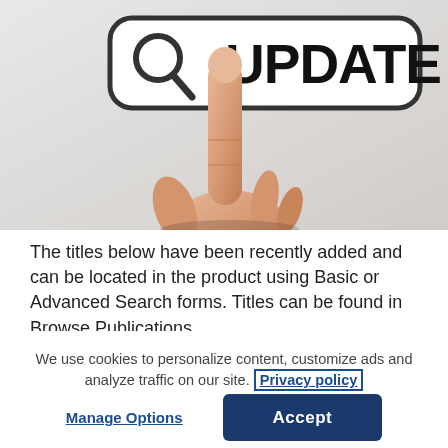[Figure (photo): A hand with index finger pointing upward toward a rounded rectangular search-bar shaped graphic containing a magnifying glass icon on the left and the word 'UPDATE' in large bold black text. Background is light gray/white gradient.]
The titles below have been recently added and can be located in the product using Basic or Advanced Search forms. Titles can be found in Browse Publications...
We use cookies to personalize content, customize ads and analyze traffic on our site. Privacy policy
Manage Options
Accept